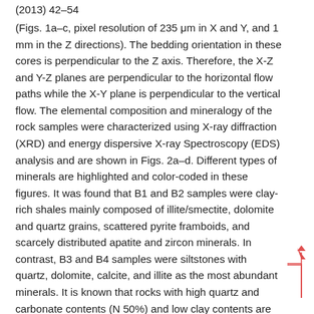(2013) 42–54
(Figs. 1a–c, pixel resolution of 235 μm in X and Y, and 1 mm in the Z directions). The bedding orientation in these cores is perpendicular to the Z axis. Therefore, the X-Z and Y-Z planes are perpendicular to the horizontal flow paths while the X-Y plane is perpendicular to the vertical flow. The elemental composition and mineralogy of the rock samples were characterized using X-ray diffraction (XRD) and energy dispersive X-ray Spectroscopy (EDS) analysis and are shown in Figs. 2a–d. Different types of minerals are highlighted and color-coded in these figures. It was found that B1 and B2 samples were clay-rich shales mainly composed of illite/smectite, dolomite and quartz grains, scattered pyrite framboids, and scarcely distributed apatite and zircon minerals. In contrast, B3 and B4 samples were siltstones with quartz, dolomite, calcite, and illite as the most abundant minerals. It is known that rocks with high quartz and carbonate contents (N 50%) and low clay contents are often more brittle and hence respond better to well stimulation practices [Passey et al. (2010) (Glorioso and Rattia, 2012)]. Therefore, we argue that the fracturing operation can be more successful in the upper and lower